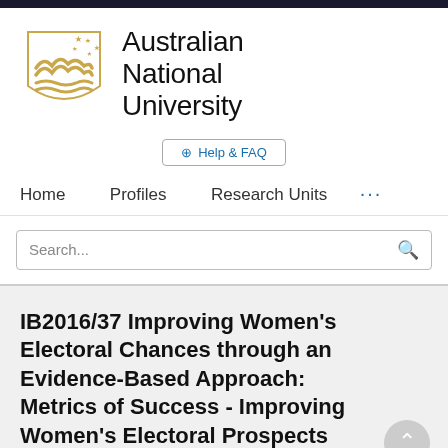[Figure (logo): Australian National University shield logo with gold colors, stars, mountains and waves]
Australian National University
⊕ Help & FAQ
Home   Profiles   Research Units   ...
Search...
IB2016/37 Improving Women's Electoral Chances through an Evidence-Based Approach: Metrics of Success - Improving Women's Electoral Prospects